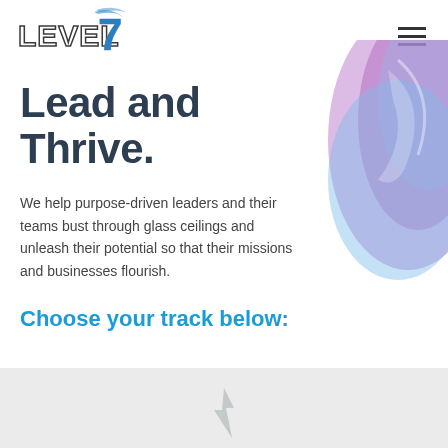[Figure (logo): Level 7 logo with stylized text and blue brushstroke number 7]
[Figure (illustration): Abstract watercolor shape in purple and blue tones, top-right corner]
Lead and Thrive.
We help purpose-driven leaders and their teams bust through glass ceilings and unleash their potential so that their missions and businesses flourish.
Choose your track below:
[Figure (illustration): Small decorative icon at bottom center on gray background]